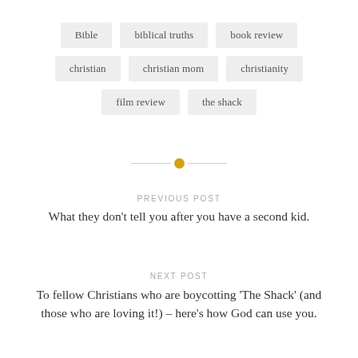Bible
biblical truths
book review
christian
christian mom
christianity
film review
the shack
PREVIOUS POST
What they don’t tell you after you have a second kid.
NEXT POST
To fellow Christians who are boycotting ‘The Shack’ (and those who are loving it!) – here’s how God can use you.